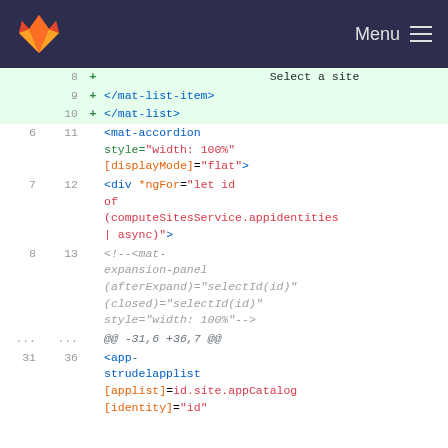Menu
[Figure (screenshot): GitLab diff view showing HTML code with added lines (green) for mat-list-item and mat-list closing tags and Select a site text, followed by normal lines showing mat-accordion, ngFor div, HTML comment with mat-expansion-panel, hunk marker, and app-strudelapplist component.]